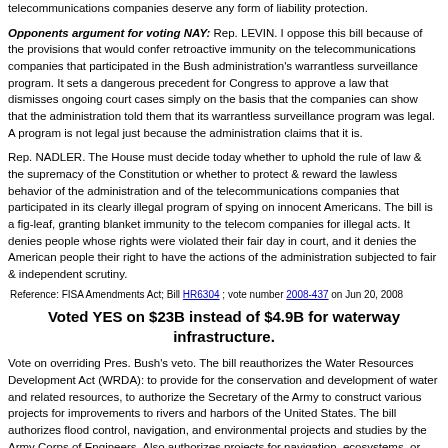telecommunications companies deserve any form of liability protection.
Opponents argument for voting NAY: Rep. LEVIN. I oppose this bill because of the provisions that would confer retroactive immunity on the telecommunications companies that participated in the Bush administration's warrantless surveillance program. It sets a dangerous precedent for Congress to approve a law that dismisses ongoing court cases simply on the basis that the companies can show that the administration told them that its warrantless surveillance program was legal. A program is not legal just because the administration claims that it is.
Rep. NADLER. The House must decide today whether to uphold the rule of law & the supremacy of the Constitution or whether to protect & reward the lawless behavior of the administration and of the telecommunications companies that participated in its clearly illegal program of spying on innocent Americans. The bill is a fig-leaf, granting blanket immunity to the telecom companies for illegal acts. It denies people whose rights were violated their fair day in court, and it denies the American people their right to have the actions of the administration subjected to fair & independent scrutiny.
Reference: FISA Amendments Act; Bill HR6304 ; vote number 2008-437 on Jun 20, 2008
Voted YES on $23B instead of $4.9B for waterway infrastructure.
Vote on overriding Pres. Bush's veto. The bill reauthorizes the Water Resources Development Act (WRDA): to provide for the conservation and development of water and related resources, to authorize the Secretary of the Army to construct various projects for improvements to rivers and harbors of the United States. The bill authorizes flood control, navigation, and environmental projects and studies by the Army Corps of Engineers. Also authorizes projects for navigation, ecosystems, or environmental